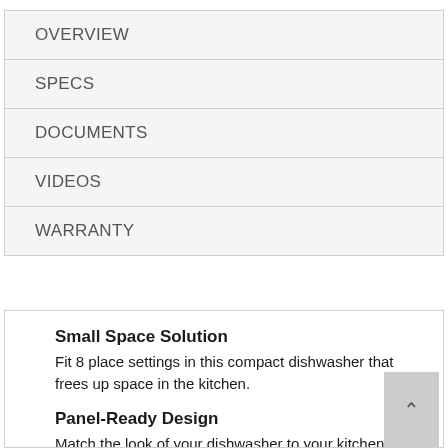OVERVIEW
SPECS
DOCUMENTS
VIDEOS
WARRANTY
Small Space Solution
Fit 8 place settings in this compact dishwasher that frees up space in the kitchen.
Panel-Ready Design
Match the look of your dishwasher to your kitchen. Choose a Whirlpool®, KitchenAid® or Jenn-Air® panel kit (not included) that coordinates with the rest of your appliances or add a custom front panel and handle for a